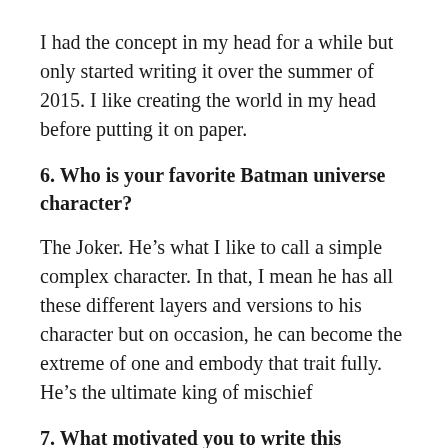I had the concept in my head for a while but only started writing it over the summer of 2015. I like creating the world in my head before putting it on paper.
6. Who is your favorite Batman universe character?
The Joker. He’s what I like to call a simple complex character. In that, I mean he has all these different layers and versions to his character but on occasion, he can become the extreme of one and embody that trait fully. He’s the ultimate king of mischief
7. What motivated you to write this screenplay?